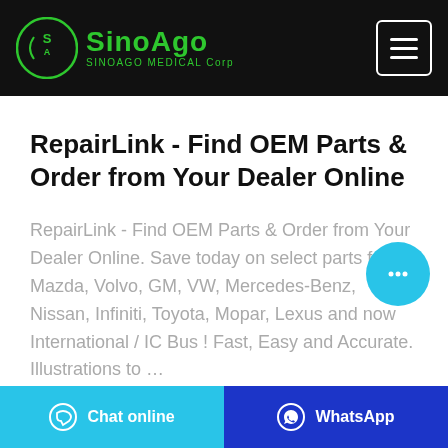SinoAgo Medical Corp
RepairLink - Find OEM Parts & Order from Your Dealer Online
RepairLink - Find OEM Parts & Order from Your Dealer Online. Save today on select parts from Mazda, Volvo, GM, VW, Mercedes-Benz, Nissan, Infiniti, Toyota, Mopar, Lexus and now International / IC Bus ! Fast, Easy and Accurate. Illustrations to …
Chat online   WhatsApp